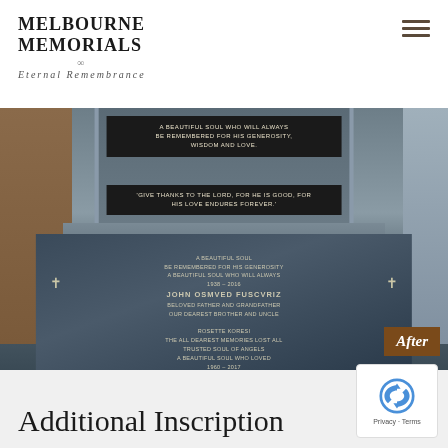MELBOURNE MEMORIALS — Eternal Remembrance
[Figure (photo): Photograph of a granite memorial grave monument showing an upper headstone with black plaques inscribed 'A BEAUTIFUL SOUL WHO WILL ALWAYS BE REMEMBERED FOR HIS GENEROSITY, WISDOM AND LOVE.' and 'GIVE THANKS TO THE LORD, FOR HE IS GOOD, FOR HIS LOVE ENDURES FOREVER.' and a lower slab with additional inscriptions including names and dates. An 'After' badge appears in the lower right corner of the photo.]
Additional Inscription